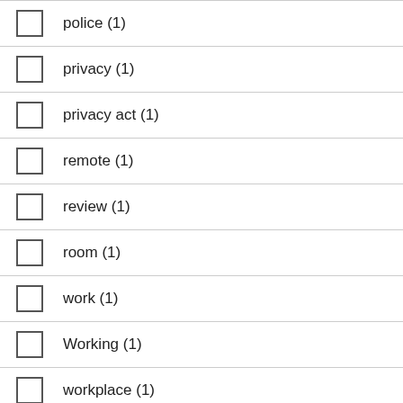police (1)
privacy (1)
privacy act (1)
remote (1)
review (1)
room (1)
work (1)
Working (1)
workplace (1)
guideline (4)